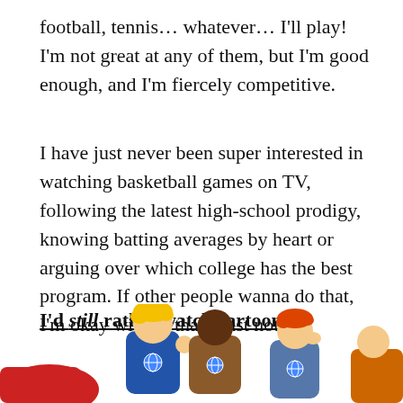football, tennis… whatever… I'll play! I'm not great at any of them, but I'm good enough, and I'm fiercely competitive.
I have just never been super interested in watching basketball games on TV, following the latest high-school prodigy, knowing batting averages by heart or arguing over which college has the best program. If other people wanna do that, I'm okay with it, that's just not me.
I'd still rather watch cartoons
[Figure (illustration): Cartoon illustration of three young characters running or posing energetically — a blonde boy, a dark-skinned boy, and a red-haired boy, with one character partially visible on the left showing a red sleeve.]